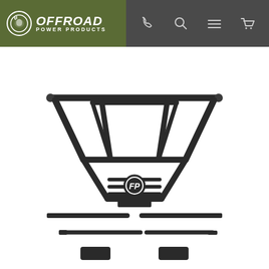OFFROAD POWER PRODUCTS
[Figure (photo): Black metal front bumper/brush guard for ATV with roll cage style tubing, and separate smaller mounting bars and brackets shown below the main bumper assembly]